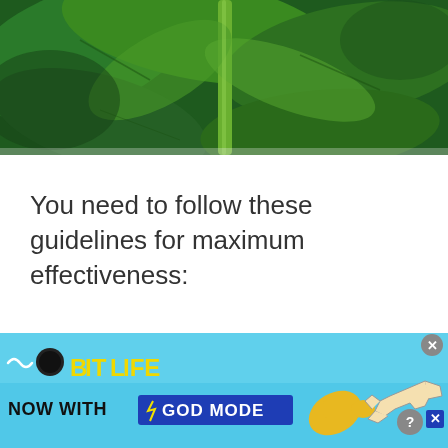[Figure (photo): Close-up photograph of green plant leaves and stem with various shades of green]
You need to follow these guidelines for maximum effectiveness:
[Figure (infographic): BitLife advertisement banner - 'NOW WITH GOD MODE' with pointing hand graphics on light blue background]